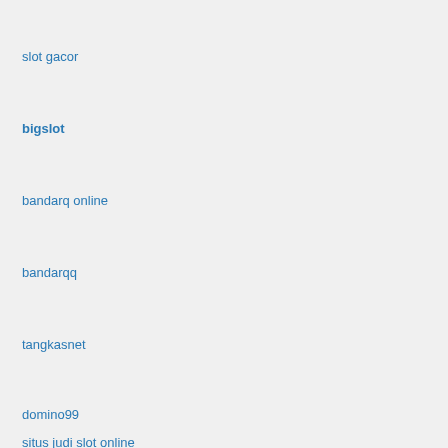slot gacor
bigslot
bandarq online
bandarqq
tangkasnet
domino99
situs judi slot online